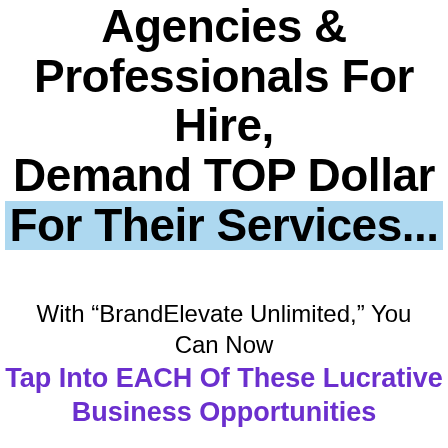Agencies & Professionals For Hire, Demand TOP Dollar For Their Services...
With “BrandElevate Unlimited,” You Can Now Tap Into EACH Of These Lucrative Business Opportunities